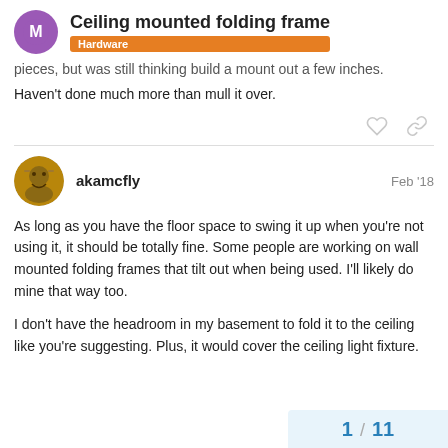Ceiling mounted folding frame
Hardware
pieces, but was still thinking build a mount out a few inches. Haven't done much more than mull it over.
akamcfly  Feb '18
As long as you have the floor space to swing it up when you're not using it, it should be totally fine. Some people are working on wall mounted folding frames that tilt out when being used. I'll likely do mine that way too.

I don't have the headroom in my basement to fold it to the ceiling like you're suggesting. Plus, it would cover the ceiling light fixture.
1 / 11